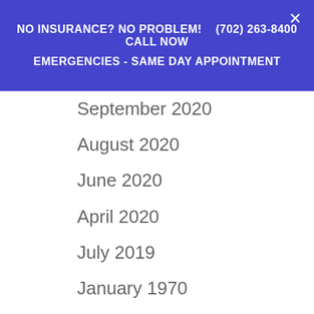NO INSURANCE? NO PROBLEM!    (702) 263-8400 CALL NOW    EMERGENCIES - SAME DAY APPOINTMENT
September 2020
August 2020
June 2020
April 2020
July 2019
January 1970
Categories